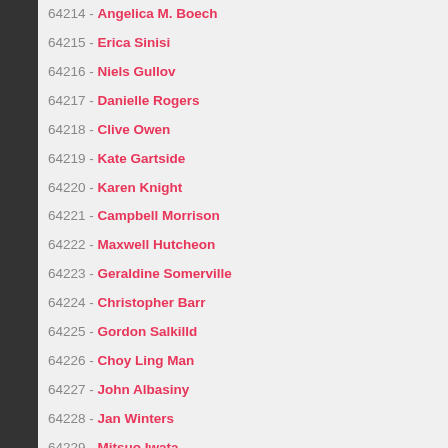64214 - Angelica M. Boech
64215 - Erica Sinisi
64216 - Niels Gullov
64217 - Danielle Rogers
64218 - Clive Owen
64219 - Kate Gartside
64220 - Karen Knight
64221 - Campbell Morrison
64222 - Maxwell Hutcheon
64223 - Geraldine Somerville
64224 - Christopher Barr
64225 - Gordon Salkilld
64226 - Choy Ling Man
64227 - John Albasiny
64228 - Jan Winters
64229 - Mitsuo Iwata
64230 - Nozomu Sasaki
64231 - Mami Koyama
64232 - Tetsusho Genda